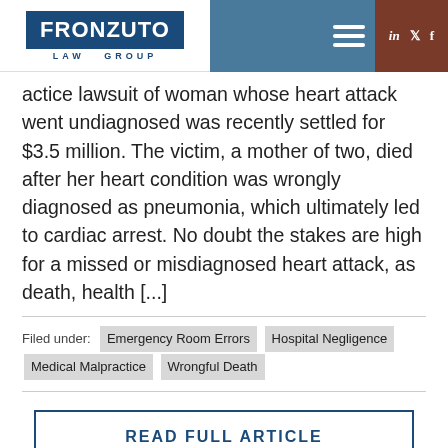[Figure (logo): Fronzuto Law Group logo with navy blue box and serif text, LAW GROUP subtitle below]
actice lawsuit of woman whose heart attack went undiagnosed was recently settled for $3.5 million. The victim, a mother of two, died after her heart condition was wrongly diagnosed as pneumonia, which ultimately led to cardiac arrest. No doubt the stakes are high for a missed or misdiagnosed heart attack, as death, health [...]
Filed under: Emergency Room Errors  Hospital Negligence  Medical Malpractice  Wrongful Death
READ FULL ARTICLE